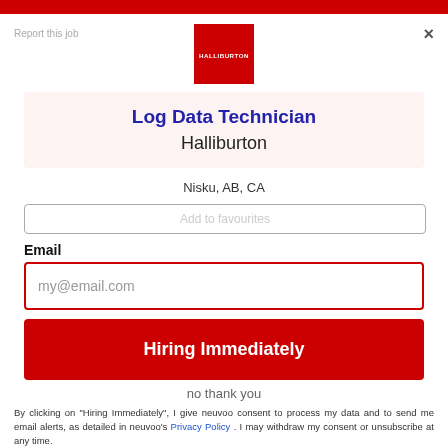[Figure (logo): Halliburton logo — red square with white HALLIBURTON text]
Report this job
×
Log Data Technician
Halliburton
Nisku, AB, CA
Email
Add to favourites
my@email.com
Hiring Immediately
no thank you
By clicking on "Hiring Immediately", I give neuvoo consent to process my data and to send me email alerts, as detailed in neuvoo's Privacy Policy . I may withdraw my consent or unsubscribe at any time.